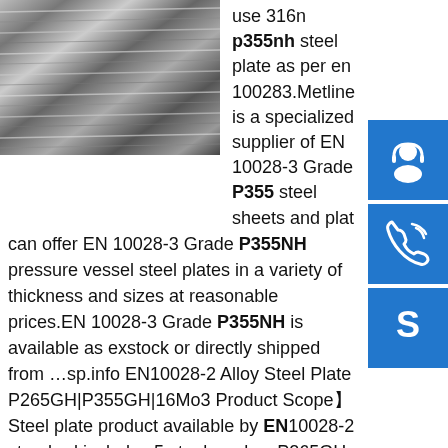[Figure (photo): Stack of steel plates/sheets, dark metallic tones, showing layered metal sheets from an angle]
use 316n p355nh steel plate as per en 100283.Metline is a specialized supplier of EN 10028-3 Grade P355 steel sheets and plates. can offer EN 10028-3 Grade P355NH pressure vessel steel plates in a variety of thickness and sizes at reasonable prices.EN 10028-3 Grade P355NH is available as exstock or directly shipped from …sp.info EN10028-2 Alloy Steel Plate P265GH|P355GH|16Mo3 Product Scope】Steel plate product available by EN10028-2 standard includes 5 steel grades: P265GH, P295GH, P355GH, 16Mo3, 10CrMo9-10. EN 10028-2 is the European standard that specifies requirements for steel plate and sheet products for pressure equipment made of weld-able non-alloy and alloy steels with elevated temperature properties as specified.sp.info EN 10028-3 Grade P460NH Steel Plates Stockists in Mumbai … Champak Steel and Engineering Co is one of the
[Figure (other): Blue sidebar icon: customer service headset/person]
[Figure (other): Blue sidebar icon: phone/call]
[Figure (other): Blue sidebar icon: Skype logo]